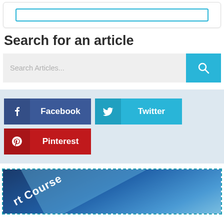[Figure (screenshot): Top card with teal/cyan bordered rectangle element]
Search for an article
[Figure (screenshot): Search bar with placeholder 'Search Articles...' and a cyan search button with magnifier icon]
[Figure (screenshot): Social sharing buttons: Facebook (dark blue), Twitter (cyan), Pinterest (dark red)]
[Figure (screenshot): Dashed border box containing a course image with diagonal blue ribbon and 'rt Course' text visible]